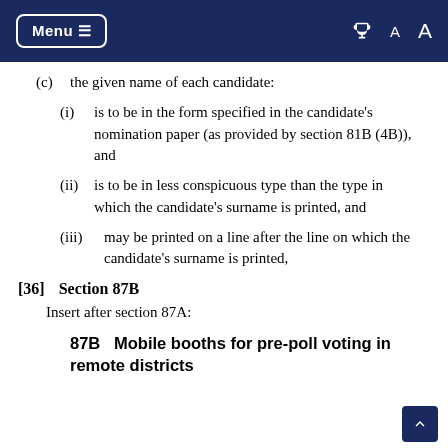Menu ≡  [printer icon] A A
(c)  the given name of each candidate:
(i)  is to be in the form specified in the candidate's nomination paper (as provided by section 81B (4B)), and
(ii)  is to be in less conspicuous type than the type in which the candidate's surname is printed, and
(iii)  may be printed on a line after the line on which the candidate's surname is printed,
[36]   Section 87B
Insert after section 87A:
87B   Mobile booths for pre-poll voting in remote districts